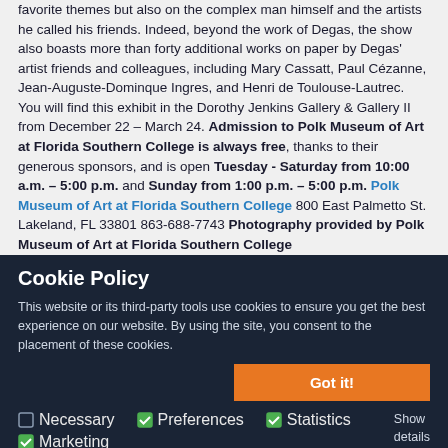favorite themes but also on the complex man himself and the artists he called his friends. Indeed, beyond the work of Degas, the show also boasts more than forty additional works on paper by Degas' artist friends and colleagues, including Mary Cassatt, Paul Cézanne, Jean-Auguste-Dominque Ingres, and Henri de Toulouse-Lautrec. You will find this exhibit in the Dorothy Jenkins Gallery & Gallery II from December 22 – March 24. Admission to Polk Museum of Art at Florida Southern College is always free, thanks to their generous sponsors, and is open Tuesday - Saturday from 10:00 a.m. – 5:00 p.m. and Sunday from 1:00 p.m. – 5:00 p.m. Polk Museum of Art at Florida Southern College 800 East Palmetto St. Lakeland, FL 33801 863-688-7743 Photography provided by Polk Museum of Art at Florida Southern College You may also be interested in Top 10 Museums and Cultural
Cookie Policy
This website or its third-party tools use cookies to ensure you get the best experience on our website. By using the site, you consent to the placement of these cookies.
Got it!
Necessary   Preferences   Statistics   Marketing   Show details